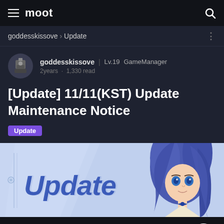moot
goddesskissove > Update
goddesskissove | Lv.19 GameManager
2years · 1,330 read
[Update] 11/11(KST) Update Maintenance Notice
Update
[Figure (illustration): Update banner image with blue 'Update' text in bold italic style and an anime character with blue hair on the right side]
Your story continues with a kiss.
This is GODDESS KISS : O.V.E